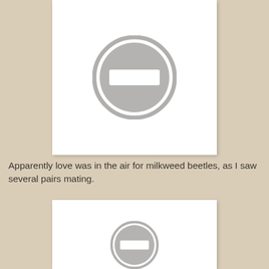[Figure (photo): A white card/photo area with a gray 'no image available' placeholder icon (circle with a horizontal bar/minus sign in the center) centered in the white rectangle.]
Apparently love was in the air for milkweed beetles, as I saw several pairs mating.
[Figure (photo): A second white card/photo area partially visible at the bottom of the page, with a gray placeholder icon partially visible at the bottom.]